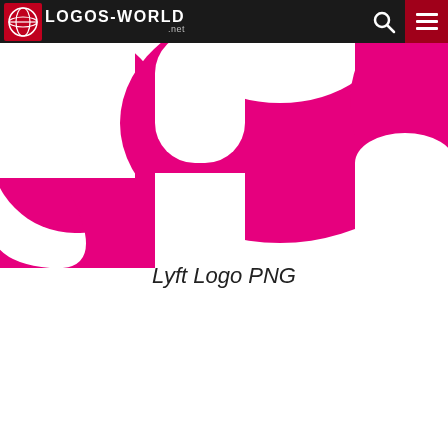LOGOS-WORLD .net
[Figure (logo): Lyft logo — large magenta/pink letter shapes cropped, showing partial 'y', 'f', 't' characters in bold magenta on white background]
Lyft Logo PNG